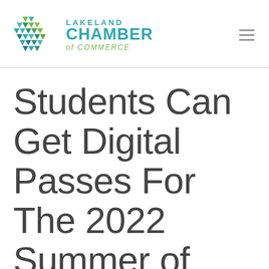[Figure (logo): Lakeland Chamber of Commerce logo with geometric hexagonal icon made of green and teal triangles, and text reading LAKELAND CHAMBER of COMMERCE]
Students Can Get Digital Passes For The 2022 Summer of Safety